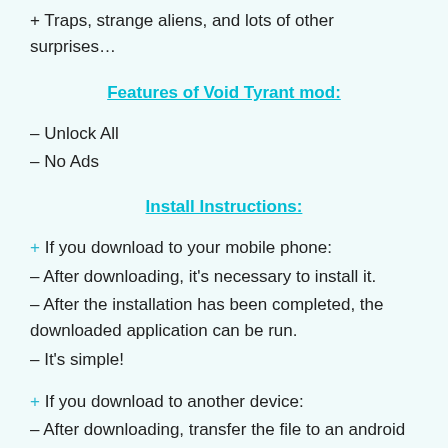+ Traps, strange aliens, and lots of other surprises…
Features of Void Tyrant mod:
– Unlock All
– No Ads
Install Instructions:
+ If you download to your mobile phone:
– After downloading, it's necessary to install it.
– After the installation has been completed, the downloaded application can be run.
– It's simple!
+ If you download to another device:
– After downloading, transfer the file to an android device.
– After transfer, it is necessary to install it.